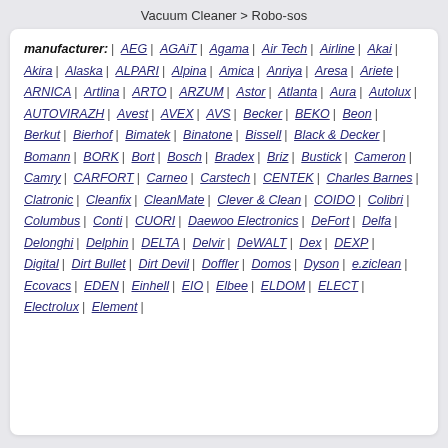Vacuum Cleaner > Robo-sos
manufacturer: AEG | AGAiT | Agama | Air Tech | Airline | Akai | Akira | Alaska | ALPARI | Alpina | Amica | Anriya | Aresa | Ariete | ARNICA | Artlina | ARTO | ARZUM | Astor | Atlanta | Aura | Autolux | AUTOVIRAZH | Avest | AVEX | AVS | Becker | BEKO | Beon | Berkut | Bierhof | Bimatek | Binatone | Bissell | Black & Decker | Bomann | BORK | Bort | Bosch | Bradex | Briz | Bustick | Cameron | Camry | CARFORT | Carneo | Carstech | CENTEK | Charles Barnes | Clatronic | Cleanfix | CleanMate | Clever & Clean | COIDO | Colibri | Columbus | Conti | CUORI | Daewoo Electronics | DeFort | Delfa | Delonghi | Delphin | DELTA | Delvir | DeWALT | Dex | DEXP | Digital | Dirt Bullet | Dirt Devil | Doffler | Domos | Dyson | e.ziclean | Ecovacs | EDEN | Einhell | EIO | Elbee | ELDOM | ELECT | Electrolux | Element